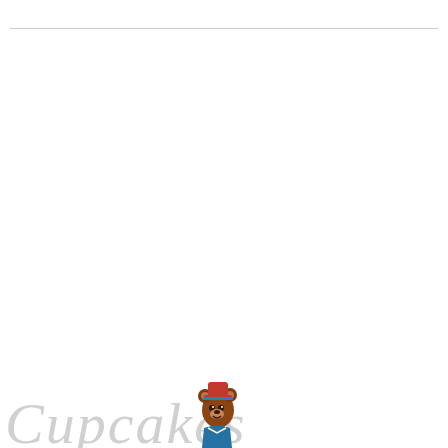[Figure (illustration): Mostly white page with a thin horizontal line near the top. At the bottom-left corner, a cursive script logo reading 'Cupcakes' in light gray/white, partially cut off, alongside a cartoon mascot character (animal figure wearing a red hat and blue outfit) peeking in from the bottom edge.]